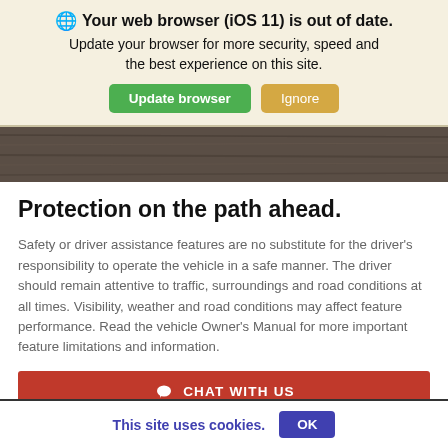Your web browser (iOS 11) is out of date. Update your browser for more security, speed and the best experience on this site. Update browser  Ignore
[Figure (photo): Wood surface / dark wood grain texture strip]
Protection on the path ahead.
Safety or driver assistance features are no substitute for the driver's responsibility to operate the vehicle in a safe manner. The driver should remain attentive to traffic, surroundings and road conditions at all times. Visibility, weather and road conditions may affect feature performance. Read the vehicle Owner's Manual for more important feature limitations and information.
CHAT WITH US
This site uses cookies.  OK